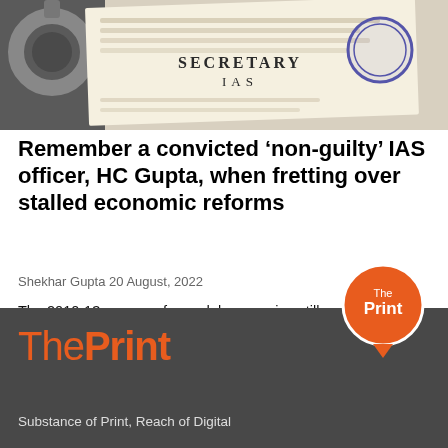[Figure (photo): Header image showing handcuffs on the left and a government document stamped with SECRETARY IAS on a paper background, with a blue circular seal visible]
Remember a convicted ‘non-guilty’ IAS officer, HC Gupta, when fretting over stalled economic reforms
Shekhar Gupta 20 August, 2022
The 2010-13 season of scandal-mongering still casts a shadow on Indian politics, and the victims are those at the lowest end of the decision-making chain.
[Figure (logo): The Print logo badge - orange circle with white text 'The Print' and a speech bubble tail]
ThePrint - Substance of Print, Reach of Digital